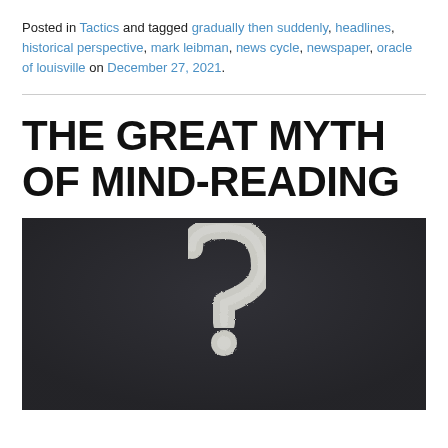Posted in Tactics and tagged gradually then suddenly, headlines, historical perspective, mark leibman, news cycle, newspaper, oracle of louisville on December 27, 2021.
THE GREAT MYTH OF MIND-READING
[Figure (photo): Dark chalkboard background with a chalk-drawn question mark in the center]